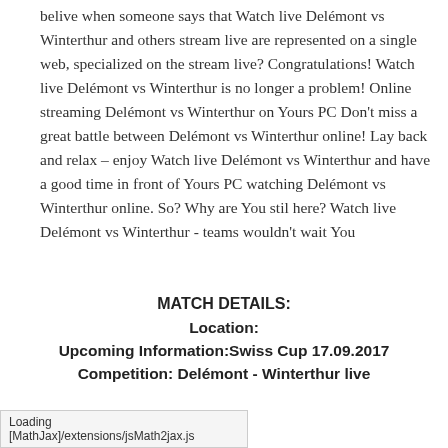belive when someone says that Watch live Delémont vs Winterthur and others stream live are represented on a single web, specialized on the stream live? Congratulations! Watch live Delémont vs Winterthur is no longer a problem! Online streaming Delémont vs Winterthur on Yours PC Don't miss a great battle between Delémont vs Winterthur online! Lay back and relax – enjoy Watch live Delémont vs Winterthur and have a good time in front of Yours PC watching Delémont vs Winterthur online. So? Why are You stil here? Watch live Delémont vs Winterthur - teams wouldn't wait You
MATCH DETAILS:
Location:
Upcoming Information:Swiss Cup 17.09.2017
Competition: Delémont - Winterthur live
Loading [MathJax]/extensions/jsMath2jax.js